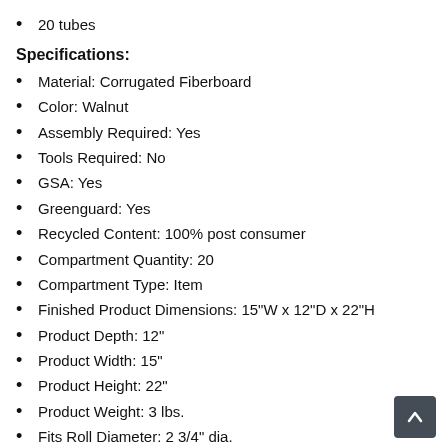20 tubes
Specifications:
Material: Corrugated Fiberboard
Color: Walnut
Assembly Required: Yes
Tools Required: No
GSA: Yes
Greenguard: Yes
Recycled Content: 100% post consumer
Compartment Quantity: 20
Compartment Type: Item
Finished Product Dimensions: 15"W x 12"D x 22"H
Product Depth: 12"
Product Width: 15"
Product Height: 22"
Product Weight: 3 lbs.
Fits Roll Diameter: 2 3/4" dia.